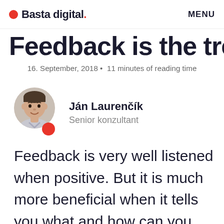Basta digital. MENU
Feedback is the treasure
16. September, 2018 • 11 minutes of reading time
[Figure (photo): Headshot of Ján Laurenčík, a man in a light shirt, circular crop, with a red dot below]
Ján Laurenčík
Senior konzultant
Feedback is very well listened when positive. But it is much more beneficial when it tells you what and how can you improve constructively. How is